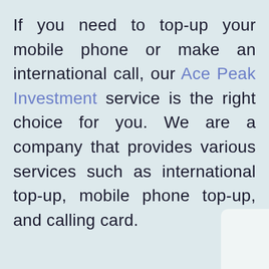If you need to top-up your mobile phone or make an international call, our Ace Peak Investment service is the right choice for you. We are a company that provides various services such as international top-up, mobile phone top-up, and calling card.